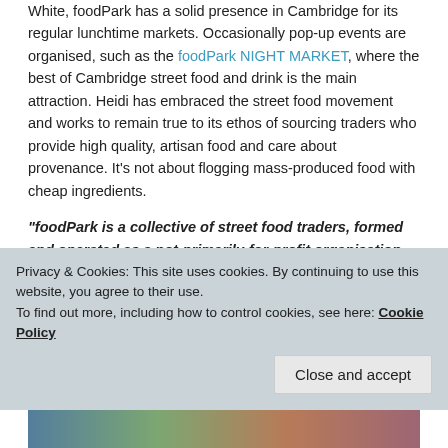White, foodPark has a solid presence in Cambridge for its regular lunchtime markets. Occasionally pop-up events are organised, such as the foodPark NIGHT MARKET, where the best of Cambridge street food and drink is the main attraction. Heidi has embraced the street food movement and works to remain true to its ethos of sourcing traders who provide high quality, artisan food and care about provenance. It's not about flogging mass-produced food with cheap ingredients.
“foodPark is a collective of street food traders, formed and operated as a not-primarily-for-profit organisation which promotes local, independent street food in Cambridge. We select traders based on strict quality criteria. foodPark was founded and is organised by Heidi White – just one local
Privacy & Cookies: This site uses cookies. By continuing to use this website, you agree to their use.
To find out more, including how to control cookies, see here: Cookie Policy
Close and accept
[Figure (photo): Partial image strip showing food market photos at the bottom of the page]